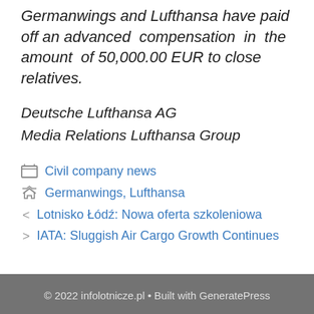Germanwings and Lufthansa have paid off an advanced compensation in the amount of 50,000.00 EUR to close relatives.
Deutsche Lufthansa AG
Media Relations Lufthansa Group
Civil company news
Germanwings, Lufthansa
< Lotnisko Łódź: Nowa oferta szkoleniowa
> IATA: Sluggish Air Cargo Growth Continues
© 2022 infolotnicze.pl • Built with GeneratePress